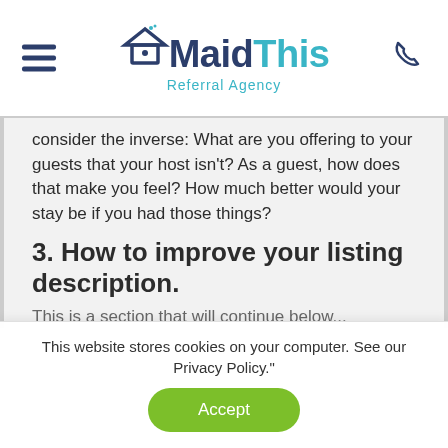MaidThis Referral Agency
consider the inverse: What are you offering to your guests that your host isn't? As a guest, how does that make you feel? How much better would your stay be if you had those things?
3. How to improve your listing description.
This is a cut-off sentence that will continue below...
This website stores cookies on your computer. See our Privacy Policy."